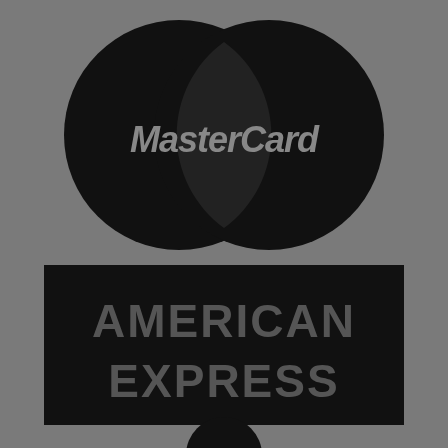[Figure (logo): MasterCard logo in black and white/grayscale — two overlapping circles forming the classic MasterCard symbol with 'MasterCard' text across the center]
[Figure (logo): American Express logo — black rectangle with 'AMERICAN EXPRESS' text in dark gray bold letters on two lines]